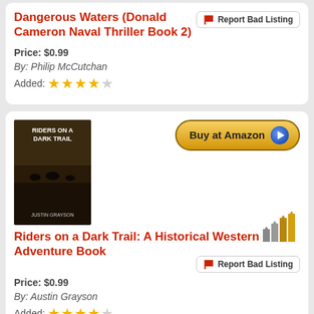Dangerous Waters (Donald Cameron Naval Thriller Book 2)
Price: $0.99
By: Philip McCutchan
Added: ★★★★☆
[Figure (illustration): Book cover for Riders on a Dark Trail]
Buy at Amazon
Riders on a Dark Trail: A Historical Western Adventure Book
Report Bad Listing
Price: $0.99
By: Austin Grayson
Added: ★★★★☆
[Figure (illustration): Book cover for Ama]
Buy at Amazon (partial)